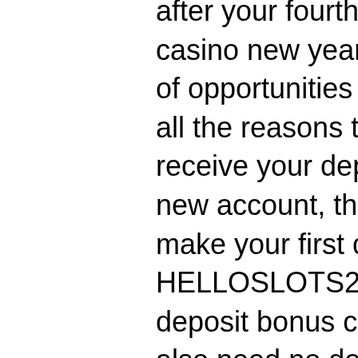review, with an additional bonus of 10 spins after your fourth deposit, indiana grand casino new years eve. you've have plenty of opportunities to get free spins, you have all the reasons to relax because we. To receive your deposit bonus, register your new account, then visit the cashier and make your first deposit. LV Bonus Code HELLOSLOTS200, jack million casino no deposit bonus code. Sometimes you might also need no deposit casino bonus codes to redeem them. For each no deposit casino bonus we include step by step tutorial how to claim the no deposit bonus, ffxiv duty roulette level 60 unlock. We provide step by step instructions on registering and redeeming our promo codes. We explain all the complicated terms and conditions of the best no deposit bonuses, as well as the welcome deposit bonuses, from the top USA-friendly casinos, wheel of fortune game ubisoft. King Billy Casino Black Beauty, poker straight